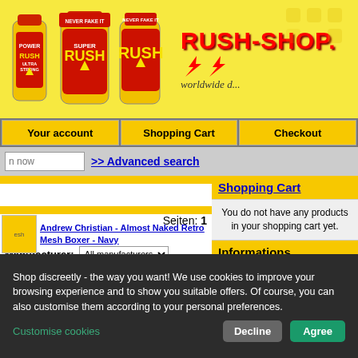[Figure (screenshot): Rush-Shop website banner with product bottles (Rush Ultra Strong, Super Rush, Rush) on yellow background with RUSH-SHOP logo and 'worldwide' tagline]
[Figure (screenshot): Navigation bar with Your account, Shopping Cart, Checkout buttons on yellow/grey background]
>> Advanced search
Shopping Cart
You do not have any products in your shopping cart yet.
Informations
Shipping
Discretion
Coupon instructions
Aromas Info!
Seiten: 1
Manufacturer:
Andrew Christian - Almost Naked Retro Mesh Boxer - Navy
Shop discreetly - the way you want! We use cookies to improve your browsing experience and to show you suitable offers. Of course, you can also customise them according to your personal preferences.
Customise cookies
Decline
Agree